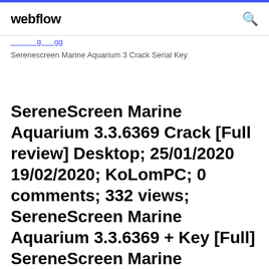webflow
Serenescreen Marine Aquarium 3 Crack Serial Key
SereneScreen Marine Aquarium 3.3.6369 Crack [Full review] Desktop; 25/01/2020 19/02/2020; KoLomPC; 0 comments; 332 views; SereneScreen Marine Aquarium 3.3.6369 + Key [Full] SereneScreen Marine Aquarium . I'm in a hurry to introduce you to